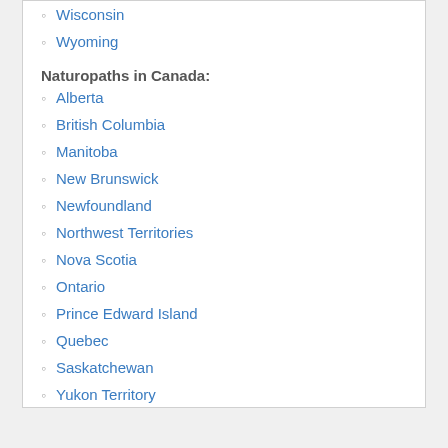Wisconsin
Wyoming
Naturopaths in Canada:
Alberta
British Columbia
Manitoba
New Brunswick
Newfoundland
Northwest Territories
Nova Scotia
Ontario
Prince Edward Island
Quebec
Saskatchewan
Yukon Territory